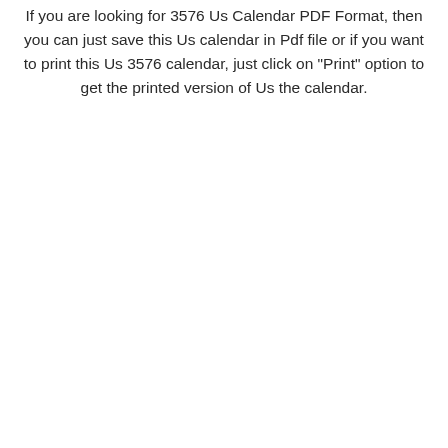If you are looking for 3576 Us Calendar PDF Format, then you can just save this Us calendar in Pdf file or if you want to print this Us 3576 calendar, just click on "Print" option to get the printed version of Us the calendar.